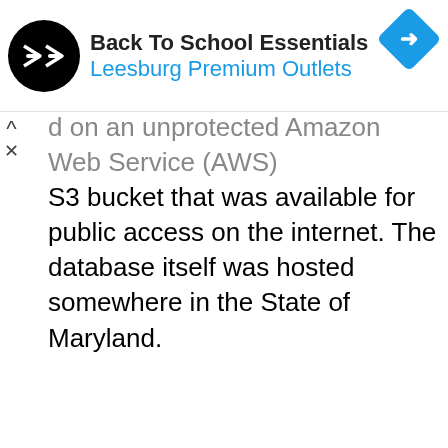[Figure (other): Advertisement banner for Leesburg Premium Outlets Back To School Essentials, with circular black logo on left, blue diamond navigation icon on right, and cyan text]
d on an unprotected Amazon Web Service (AWS) S3 bucket that was available for public access on the internet. The database itself was hosted somewhere in the State of Maryland.